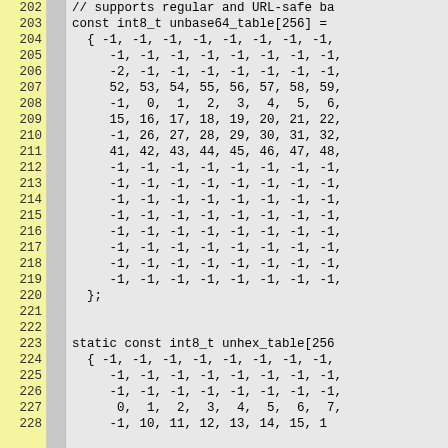[Figure (screenshot): Source code viewer showing C code with line numbers 202-228. Yellow line number gutter on left, gray breakpoint column, light gray code area. Code shows unbase64_table and unhex_table array definitions with int8_t values.]